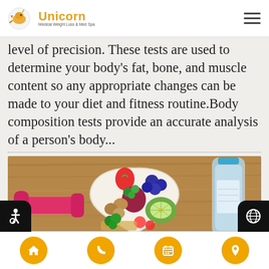[Figure (logo): Unicorn Medical Weight Loss & Med Spa logo with bird/unicorn icon]
level of precision. These tests are used to determine your body's fat, bone, and muscle content so any appropriate changes can be made to your diet and fitness routine.Body composition tests provide an accurate analysis of a person's body...
[Figure (photo): Heart-shaped bowl filled with colorful fruits and vegetables including strawberries, blueberries, kiwi, radishes, nuts and greens, with a pink dumbbell on the left and a water bottle on the right, on a wooden surface]
[Figure (infographic): Bottom navigation bar with four orange circular buttons: home, phone, calendar, and location]